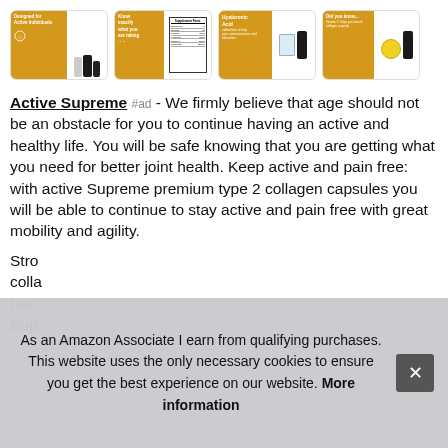[Figure (photo): Four product thumbnail images in a row showing Active Supreme supplement product. First thumbnail shows a gold/yellow panel with 'Designed for Active Individuals' text and supplement bottles. Second thumbnail shows a yellow panel with 'Know exactly what you are taking' text and a Supplement Facts panel. Third thumbnail shows a yellow panel with 'Hyaluronic Acid' text and a glass of water with a bottle. Fourth thumbnail shows a yellow panel with 'Did you know...' text, a bottle and a lemon.]
Active Supreme #ad - We firmly believe that age should not be an obstacle for you to continue having an active and healthy life. You will be safe knowing that you are getting what you need for better joint health. Keep active and pain free: with active Supreme premium type 2 collagen capsules you will be able to continue to stay active and pain free with great mobility and agility.
Stro... colla... not... Sup...
As an Amazon Associate I earn from qualifying purchases. This website uses the only necessary cookies to ensure you get the best experience on our website. More information